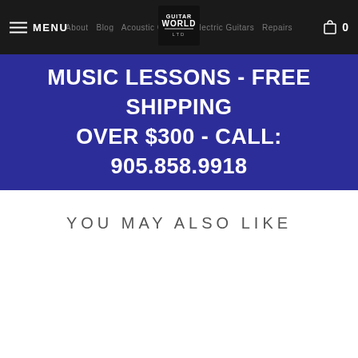MENU | Guitar World | 0
MUSIC LESSONS - FREE SHIPPING OVER $300 - CALL: 905.858.9918
YOU MAY ALSO LIKE